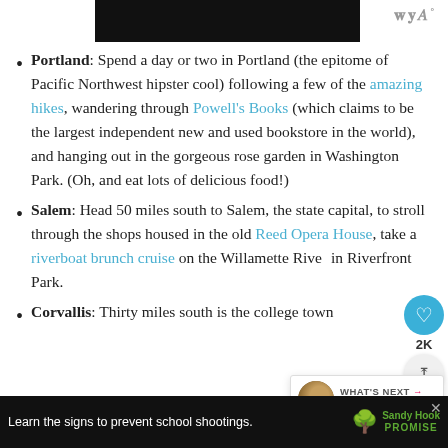[Figure (other): Black image/video bar at the top of the page]
Portland: Spend a day or two in Portland (the epitome of Pacific Northwest hipster cool) following a few of the amazing hikes, wandering through Powell's Books (which claims to be the largest independent new and used bookstore in the world), and hanging out in the gorgeous rose garden in Washington Park. (Oh, and eat lots of delicious food!)
Salem: Head 50 miles south to Salem, the state capital, to stroll through the shops housed in the old Reed Opera House, take a riverboat brunch cruise on the Willamette River in Riverfront Park.
Corvallis: Thirty miles south is the college town
[Figure (other): Sandy Hook Promise advertisement bar at the bottom: 'Learn the signs to prevent school shootings.' with tree logo and SandyHook Promise branding]